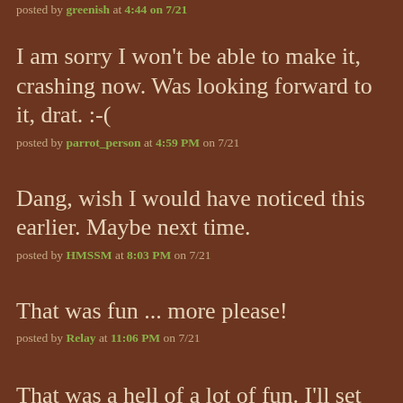posted by greenish at 4:44 on 7/21
I am sorry I won't be able to make it, crashing now. Was looking forward to it, drat. :-(
posted by parrot_person at 4:59 PM on 7/21
Dang, wish I would have noticed this earlier. Maybe next time.
posted by HMSSM at 8:03 PM on 7/21
That was fun ... more please!
posted by Relay at 11:06 PM on 7/21
That was a hell of a lot of fun. I'll set up the next one soon; hopefully we can make this a monthly thing. Awesome to